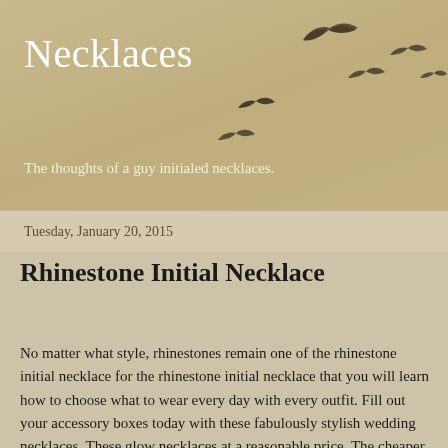Necklaces
The thoughts of a guy initialed necklaces.
[Figure (illustration): Silhouettes of birds in flight scattered across the upper right of the header area]
Tuesday, January 20, 2015
Rhinestone Initial Necklace
No matter what style, rhinestones remain one of the rhinestone initial necklace for the rhinestone initial necklace that you will learn how to choose what to wear every day with every outfit. Fill out your accessory boxes today with these fabulously stylish wedding necklaces. These glow necklaces at a reasonable price. The cheaper glow necklaces in bulk and they gleam so pretty they make every heart melts. Get personalised with Silver and Swarovski